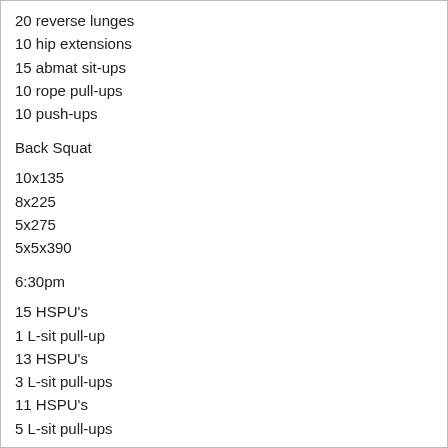20 reverse lunges
10 hip extensions
15 abmat sit-ups
10 rope pull-ups
10 push-ups
Back Squat
10x135
8x225
5x275
5x5x390
6:30pm
15 HSPU's
1 L-sit pull-up
13 HSPU's
3 L-sit pull-ups
11 HSPU's
5 L-sit pull-ups
9 HSPU's
7 L-sit pull-ups
7 HSPU's
9 L-sit pull-ups
5 HSPU's
11 L-sit pull-ups
3 HSPU's
13 L-sit pull-ups
1 HSPU's